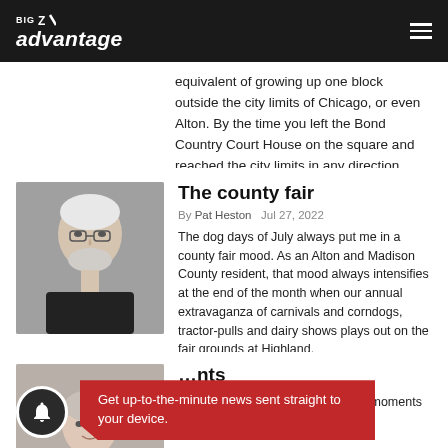BIG Z Advantage
equivalent of growing up one block outside the city limits of Chicago, or even Alton. By the time you left the Bond Country Court House on the square and reached the city limits in any direction, ...
The county fair
By Pat Heston   Jul 27, 2022
The dog days of July always put me in a county fair mood. As an Alton and Madison County resident, that mood always intensifies at the end of the month when our annual extravaganza of carnivals and corndogs, tractor-pulls and dairy shows plays out on the fair grounds at Highland.
…nts
…having an epiphany that mindful moments of our surroundings with…
Get up-to-the-minute news sent straight to your device.